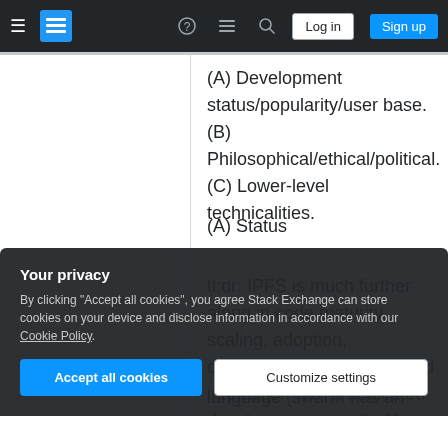Stack Exchange navigation bar with Log in and Sign up buttons
(A) Development status/popularity/user base. (B) Philosophical/ethical/political. (C) Lower-level technicalities.
(A) Status
tl;dr: IPFS is much further along in code maturity, scaling, adoption, community engagement and interaction with a dedicated developer community. Yet swarm's place in the Ethereum ecosystem
language (swarm has an outdated java
Your privacy
By clicking "Accept all cookies", you agree Stack Exchange can store cookies on your device and disclose information in accordance with our Cookie Policy.
Accept all cookies
Customize settings